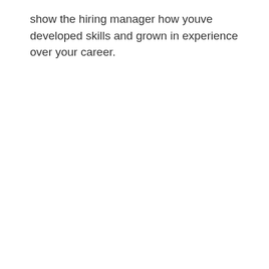show the hiring manager how youve developed skills and grown in experience over your career.